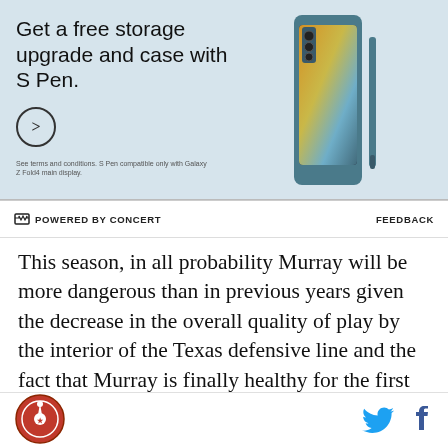[Figure (photo): Samsung Galaxy Z Fold4 advertisement: 'Get a free storage upgrade and case with S Pen.' with phone product image on teal background, arrow button, and fine print about terms and conditions.]
POWERED BY CONCERT   FEEDBACK
This season, in all probability Murray will be more dangerous than in previous years given the decrease in the overall quality of play by the interior of the Texas defensive line and the fact that Murray is finally healthy for the first time in years. The bad news for OU fans is that the Sooners have hardly been dominant on the ground this season, averaging barely over three yards
[Figure (logo): Site logo - circular icon with star design]
[Figure (other): Twitter and Facebook social sharing icons]